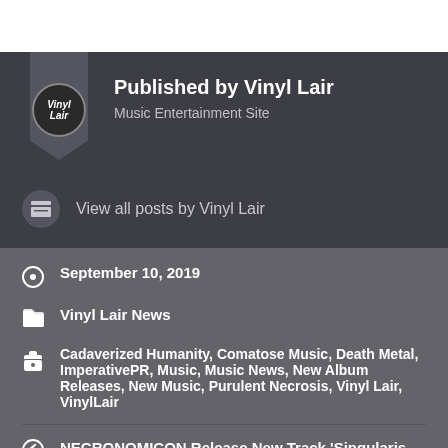Published by Vinyl Lair
Music Entertainment Site
View all posts by Vinyl Lair
September 10, 2019
Vinyl Lair News
Cadaverized Humanity, Comatose Music, Death Metal, ImperativePR, Music, Music News, New Album Releases, New Music, Purulent Necrosis, Vinyl Lair, VinylLair
NECRONOMICON Release New Track ‘Singularis Dominus’ Off Upcoming Album “UNUS”